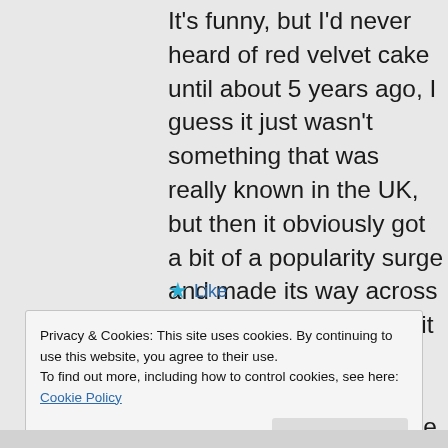It's funny, but I'd never heard of red velvet cake until about 5 years ago, I guess it just wasn't something that was really known in the UK, but then it obviously got a bit of a popularity surge and made its way across here too, and I thought it was some kind of new creation, but obviously not! I've never made one myself, but when I do, it will be your grandmother's recipe 🙂
★ Like
Privacy & Cookies: This site uses cookies. By continuing to use this website, you agree to their use.
To find out more, including how to control cookies, see here: Cookie Policy
Close and accept